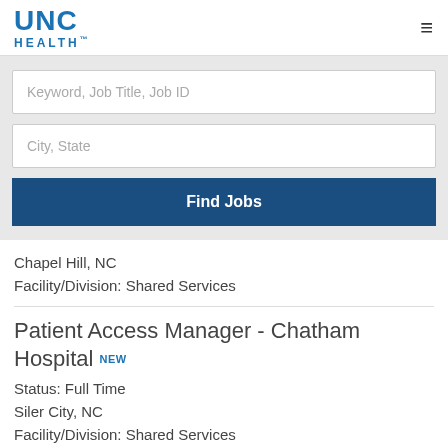[Figure (logo): UNC Health logo — blue text]
Keyword, Job Title, Job ID
City, State
Find Jobs
Chapel Hill, NC
Facility/Division: Shared Services
Patient Access Manager - Chatham Hospital NEW
Status: Full Time
Siler City, NC
Facility/Division: Shared Services